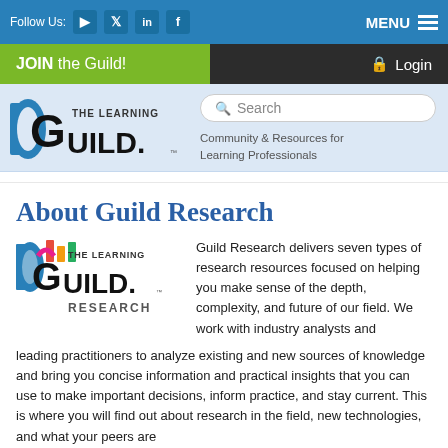Follow Us: [YouTube] [Twitter] [LinkedIn] [Facebook]    MENU
JOIN the Guild!    Login
[Figure (logo): The Learning Guild logo with search box and tagline: Community & Resources for Learning Professionals]
About Guild Research
[Figure (logo): The Learning Guild Research logo]
Guild Research delivers seven types of research resources focused on helping you make sense of the depth, complexity, and future of our field. We work with industry analysts and leading practitioners to analyze existing and new sources of knowledge and bring you concise information and practical insights that you can use to make important decisions, inform practice, and stay current. This is where you will find out about research in the field, new technologies, and what your peers are